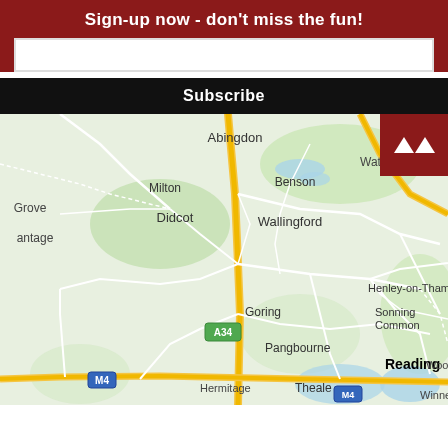Sign-up now - don't miss the fun!
[Figure (other): Email input text field (white rectangle)]
Subscribe
[Figure (map): Google Maps style map showing area around Wallingford, Oxfordshire, UK. Places visible: Abingdon, Milton, Didcot (with A34 road marker), Grove, Wantage, Benson, Watlington, Chiltern Hills, Wallingford, Henley-on-Thames, Sonning Common, Goring, Pangbourne, Reading, Woodley, Hermitage (with M4 marker), Theale (with M4 marker), Winnersh. Road network including A34 (yellow) and M4 (blue markers) visible.]